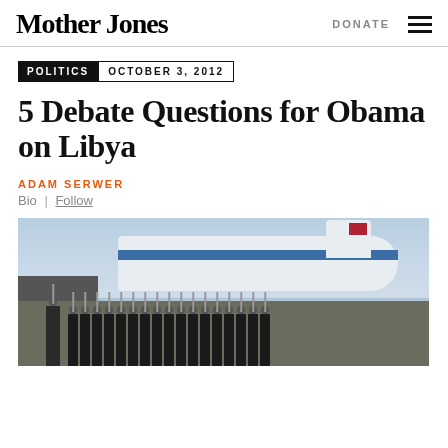Mother Jones
DONATE
POLITICS  OCTOBER 3, 2012
5 Debate Questions for Obama on Libya
ADAM SERWER
Bio | Follow
[Figure (photo): Military honor guard in dress uniforms with rifles marching on a tarmac in front of a large aircraft (appears to be Air Force One) with a building visible in the background.]